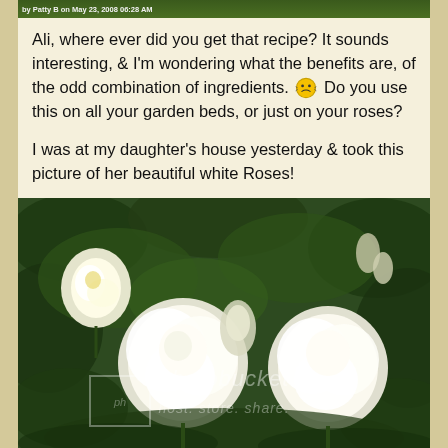by Patty B on May 23, 2008 06:28 AM
Ali, where ever did you get that recipe? It sounds interesting, & I'm wondering what the benefits are, of the odd combination of ingredients. 🤔 Do you use this on all your garden beds, or just on your roses?
I was at my daughter's house yesterday & took this picture of her beautiful white Roses!
[Figure (photo): Photo of beautiful white roses with green leaves and buds, with a Photobucket watermark overlay reading 'photobucket' and 'host. store. share.']